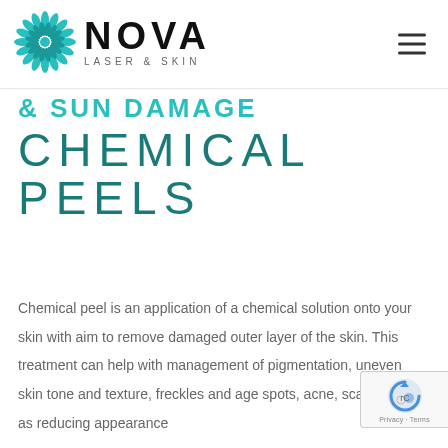[Figure (logo): Nova Laser & Skin logo with teal flower/leaf circular emblem and bold NOVA text with LASER & SKIN subtitle]
& SUN DAMAGE CHEMICAL PEELS
Chemical peel is an application of a chemical solution onto your skin with aim to remove damaged outer layer of the skin. This treatment can help with management of pigmentation, uneven skin tone and texture, freckles and age spots, acne, scars as well as reducing appearance